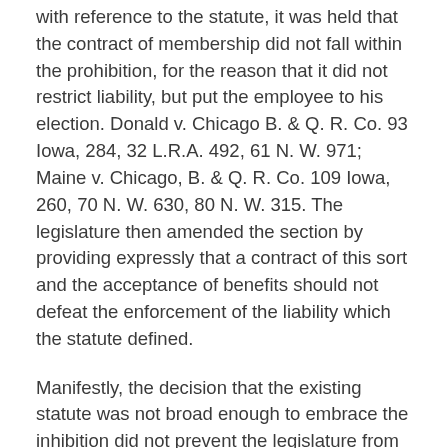with reference to the statute, it was held that the contract of membership did not fall within the prohibition, for the reason that it did not restrict liability, but put the employee to his election. Donald v. Chicago B. & Q. R. Co. 93 Iowa, 284, 32 L.R.A. 492, 61 N. W. 971; Maine v. Chicago, B. & Q. R. Co. 109 Iowa, 260, 70 N. W. 630, 80 N. W. 315. The legislature then amended the section by providing expressly that a contract of this sort and the acceptance of benefits should not defeat the enforcement of the liability which the statute defined.
Manifestly, the decision that the existing statute was not broad enough to embrace the inhibition did not prevent the legislature from enlarging its scope so that it should be included. Nor was the holding of the court final upon the point of public policy, so far as the power of the legislature is concerned. The legislature, provided it acts within its constitutional authority, is the arbiter of the public policy of the state. While the court, unaided by legislative declaration,